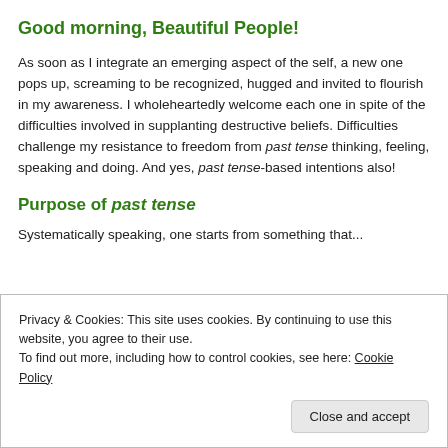Good morning, Beautiful People!
As soon as I integrate an emerging aspect of the self, a new one pops up, screaming to be recognized, hugged and invited to flourish in my awareness. I wholeheartedly welcome each one in spite of the difficulties involved in supplanting destructive beliefs. Difficulties challenge my resistance to freedom from past tense thinking, feeling, speaking and doing. And yes, past tense-based intentions also!
Purpose of past tense
Systematically speaking, one starts from something that...
Privacy & Cookies: This site uses cookies. By continuing to use this website, you agree to their use.
To find out more, including how to control cookies, see here: Cookie Policy